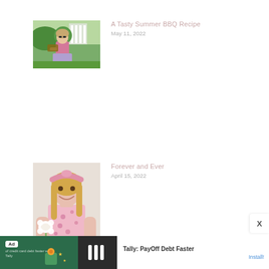[Figure (photo): Woman in pink dress holding food outdoors with garden background - blog post thumbnail]
A Tasty Summer BBQ Recipe
May 11, 2022
[Figure (photo): Woman with pink headband holding a white flower, smiling - blog post thumbnail]
Forever and Ever
April 15, 2022
[Figure (infographic): Ad banner: Tally PayOff Debt Faster - Install!]